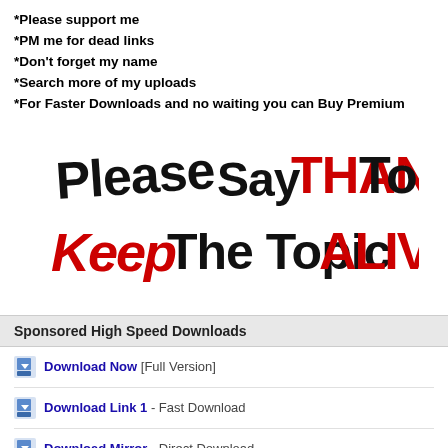*Please support me
*PM me for dead links
*Don't forget my name
*Search more of my uploads
*For Faster Downloads and no waiting you can Buy Premium
[Figure (illustration): Stylized graffiti-like text image reading 'Please Say THANKS To Keep The Topic ALIVE' with black and red lettering on white background]
Sponsored High Speed Downloads
Download Now [Full Version]
Download Link 1 - Fast Download
Download Mirror - Direct Download
Search More